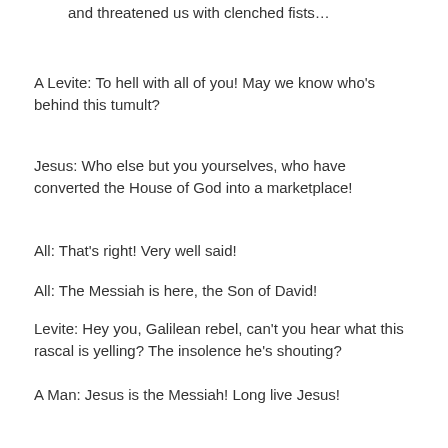Levites and guardians of the temple cut our steps short and threatened us with clenched fists…
A Levite: To hell with all of you! May we know who's behind this tumult?
Jesus: Who else but you yourselves, who have converted the House of God into a marketplace!
All: That's right! Very well said!
All: The Messiah is here, the Son of David!
Levite: Hey you, Galilean rebel, can't you hear what this rascal is yelling? The insolence he's shouting?
A Man: Jesus is the Messiah! Long live Jesus!
All: Long live Jesus!
Levite: Silence them, the blasphemers!
Jesus: Neither you nor anyone can, for we've come in the